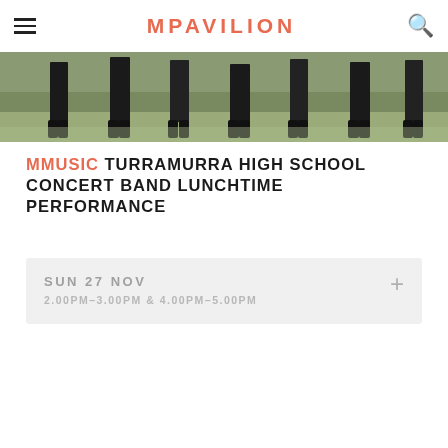MPAVILION
[Figure (photo): Photo of concert band members in black uniforms and shoes on grass, cropped to show lower legs and feet]
MMUSIC TURRAMURRA HIGH SCHOOL CONCERT BAND LUNCHTIME PERFORMANCE
SUN 27 NOV
2.00PM–3.00PM  &  4.00PM–5.00PM